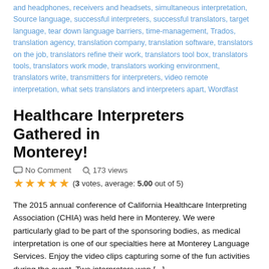and headphones, receivers and headsets, simultaneous interpretation, Source language, successful interpreters, successful translators, target language, tear down language barriers, time-management, Trados, translation agency, translation company, translation software, translators on the job, translators refine their work, translators tool box, translators tools, translators work mode, translators working environment, translators write, transmitters for interpreters, video remote interpretation, what sets translators and interpreters apart, Wordfast
Healthcare Interpreters Gathered in Monterey!
No Comment   173 views
(3 votes, average: 5.00 out of 5)
The 2015 annual conference of California Healthcare Interpreting Association (CHIA) was held here in Monterey. We were particularly glad to be part of the sponsoring bodies, as medical interpretation is one of our specialties here at Monterey Language Services. Enjoy the video clips capturing some of the fun activities during the event. Two interpreters won [...]
>> Read More